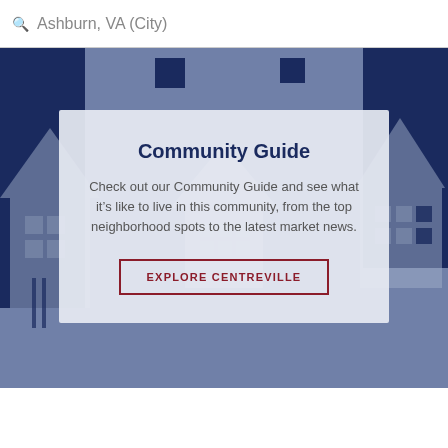Ashburn, VA (City)
[Figure (illustration): Background illustration of houses silhouetted in blue and dark navy tones, suggesting a neighborhood scene]
Community Guide
Check out our Community Guide and see what it’s like to live in this community, from the top neighborhood spots to the latest market news.
EXPLORE CENTREVILLE